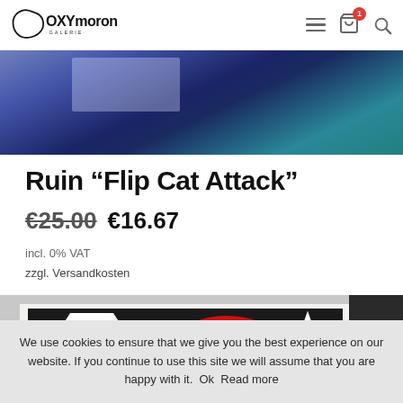Oxymoron Galerie
[Figure (photo): Hero image showing a dark blue/purple toned photograph with a teal accent, appears to be a street art or gallery scene]
Ruin “Flip Cat Attack”
€25.00 €16.67
incl. 0% VAT
zzgl. Versandkosten
[Figure (photo): Product image: black and white print with red accent showing stylized cat attack artwork by Ruin]
We use cookies to ensure that we give you the best experience on our website. If you continue to use this site we will assume that you are happy with it.  Ok  Read more